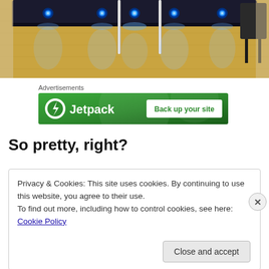[Figure (photo): A dance studio or stage with blue LED lights on a dark curved stage platform, reflective wooden floor, and a chair visible at right. Vertical poles visible.]
Advertisements
[Figure (screenshot): Jetpack advertisement banner with green background, Jetpack logo (circle with lightning bolt), text 'Jetpack' and button 'Back up your site']
So pretty, right?
Privacy & Cookies: This site uses cookies. By continuing to use this website, you agree to their use.
To find out more, including how to control cookies, see here: Cookie Policy
Close and accept